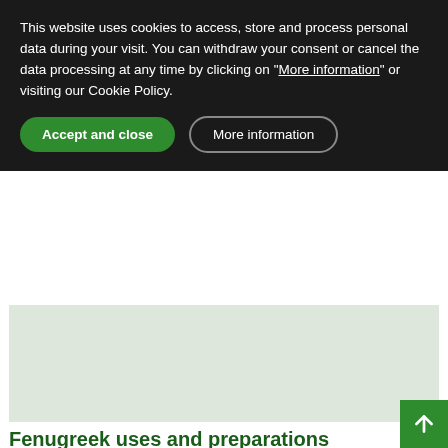This website uses cookies to access, store and process personal data during your visit. You can withdraw your consent or cancel the data processing at any time by clicking on "More information" or visiting our Cookie Policy.
Accept and close
More information
[Figure (photo): Light green/grey placeholder image area at top of page]
Fenugreek uses and preparations
[Figure (photo): Large light green/grey placeholder image area showing partial plant/herb icon at bottom]